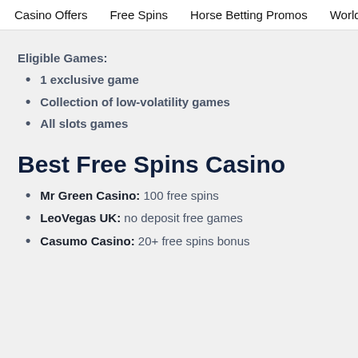Casino Offers   Free Spins   Horse Betting Promos   World Cup 202
Eligible Games:
1 exclusive game
Collection of low-volatility games
All slots games
Best Free Spins Casino
Mr Green Casino: 100 free spins
LeoVegas UK: no deposit free games
Casumo Casino: 20+ free spins bonus